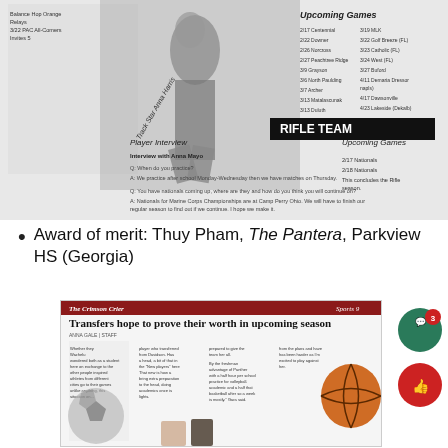[Figure (photo): Newspaper page showing rifle team section with player interview and upcoming games schedule, with an athlete photo]
Award of merit: Thuy Pham, The Pantera, Parkview HS (Georgia)
[Figure (screenshot): Newspaper page from The Crimson Crier Sports section with headline 'Transfers hope to prove their worth in upcoming season' and basketball imagery]